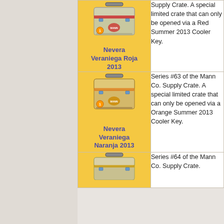[Figure (illustration): Red cooler/supply crate item image for Nevera Veraniega Roja 2013]
Nevera Veraniega Roja 2013
Series #62 of the Mann Co. Supply Crate. A special limited crate that can only be opened via a Red Summer 2013 Cooler Key.
Con...
Alea...
Caja...
[Figure (illustration): Orange cooler/supply crate item image for Nevera Veraniega Naranja 2013]
Nevera Veraniega Naranja 2013
Series #63 of the Mann Co. Supply Crate. A special limited crate that can only be opened via a Orange Summer 2013 Cooler Key.
Con...
Alea...
Caja...
[Figure (illustration): Third cooler/supply crate item (partially visible) for Series #64]
Series #64 of the Mann Co. Supply Crate.